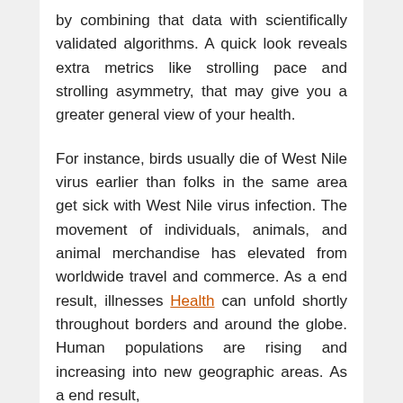by combining that data with scientifically validated algorithms. A quick look reveals extra metrics like strolling pace and strolling asymmetry, that may give you a greater general view of your health.
For instance, birds usually die of West Nile virus earlier than folks in the same area get sick with West Nile virus infection. The movement of individuals, animals, and animal merchandise has elevated from worldwide travel and commerce. As a end result, illnesses Health can unfold shortly throughout borders and around the globe. Human populations are rising and increasing into new geographic areas. As a end result,